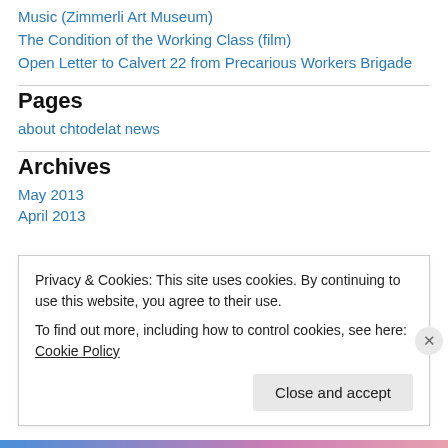Music (Zimmerli Art Museum)
The Condition of the Working Class (film)
Open Letter to Calvert 22 from Precarious Workers Brigade
Pages
about chtodelat news
Archives
May 2013
April 2013
Privacy & Cookies: This site uses cookies. By continuing to use this website, you agree to their use.
To find out more, including how to control cookies, see here: Cookie Policy